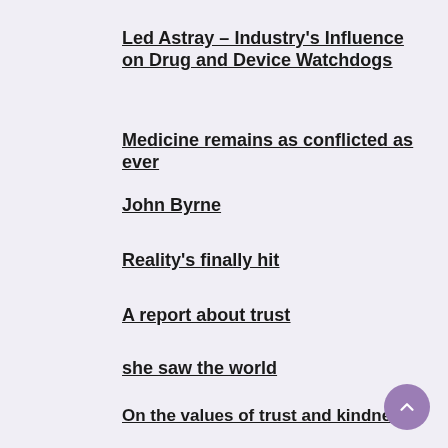Led Astray – Industry's Influence on Drug and Device Watchdogs
Medicine remains as conflicted as ever
John Byrne
Reality's finally hit
A report about trust
she saw the world
On the values of trust and kindness
Radical landscapes